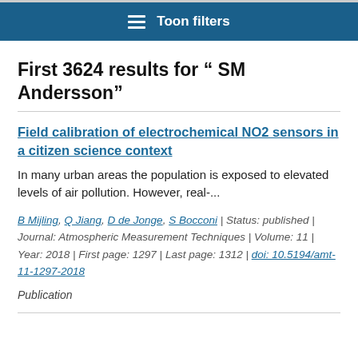Toon filters
First 3624 results for " SM Andersson"
Field calibration of electrochemical NO2 sensors in a citizen science context
In many urban areas the population is exposed to elevated levels of air pollution. However, real-...
B Mijling, Q Jiang, D de Jonge, S Bocconi | Status: published | Journal: Atmospheric Measurement Techniques | Volume: 11 | Year: 2018 | First page: 1297 | Last page: 1312 | doi: 10.5194/amt-11-1297-2018
Publication